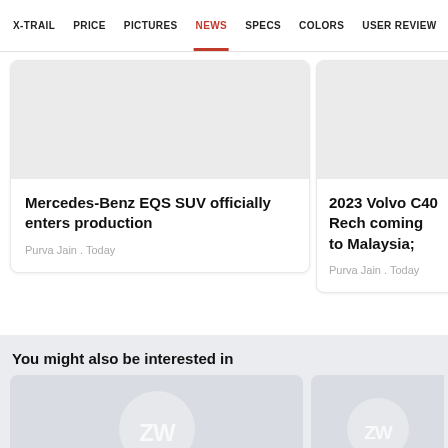X-TRAIL   PRICE   PICTURES   NEWS   SPECS   COLORS   USER REVIEW
Mercedes-Benz EQS SUV officially enters production
Purva Jain . Today
2023 Volvo C40 Rech coming to Malaysia;
Purva Jain . Today
You might also be interested in
[Figure (logo): ZW logo placeholder circle on grey card background]
[Figure (logo): ZW logo placeholder circle on grey card background]